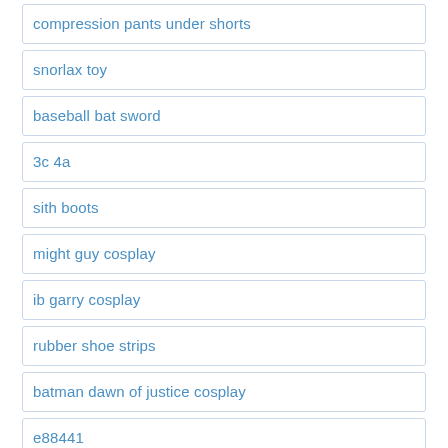compression pants under shorts
snorlax toy
baseball bat sword
3c 4a
sith boots
might guy cosplay
ib garry cosplay
rubber shoe strips
batman dawn of justice cosplay
e88441
gele hat
jaqueta de couro